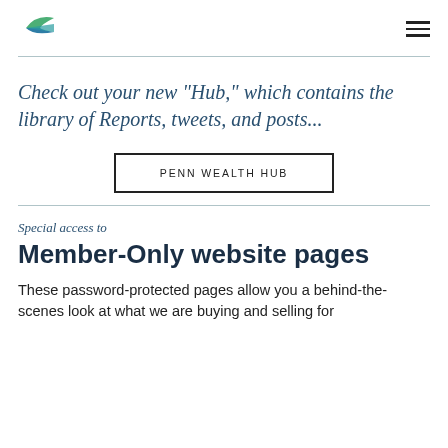Penn Wealth Hub logo and navigation menu
Check out your new "Hub," which contains the library of Reports, tweets, and posts...
PENN WEALTH HUB
Special access to
Member-Only website pages
These password-protected pages allow you a behind-the-scenes look at what we are buying and selling for